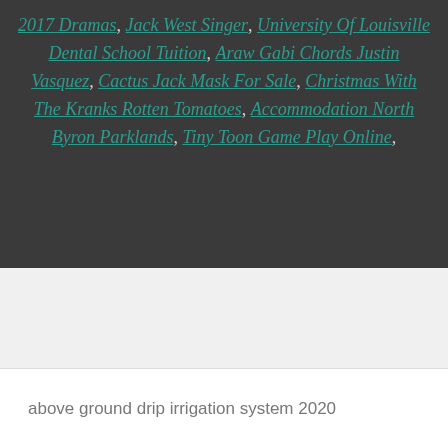2017 Dramas, Jack West Singer, University Of Louisville Dental School Tuition, Araw Gabi Chords Justin Vasquez, Cactus Jack Mask For Sale, Christmas With The Kranks Rotten Tomatoes, Accommodation North Byron Parklands, Tiny Toon Game Play Online,
above ground drip irrigation system 2020